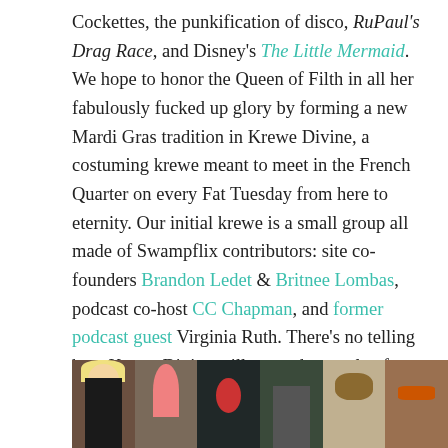Cockettes, the punkification of disco, RuPaul's Drag Race, and Disney's The Little Mermaid. We hope to honor the Queen of Filth in all her fabulously fucked up glory by forming a new Mardi Gras tradition in Krewe Divine, a costuming krewe meant to meet in the French Quarter on every Fat Tuesday from here to eternity. Our initial krewe is a small group all made of Swampflix contributors: site co-founders Brandon Ledet & Britnee Lombas, podcast co-host CC Chapman, and former podcast guest Virginia Ruth. There's no telling how Krewe Divine will expand or evolve from here as we do our best to honor the Queen of Filth in the future, but for now, enjoy some pictures from our 2017 maiden voyage as Swampflix's official Mardi Gras krewe:
[Figure (photo): Strip of six photographs showing members of Krewe Divine in costume for Mardi Gras 2017]